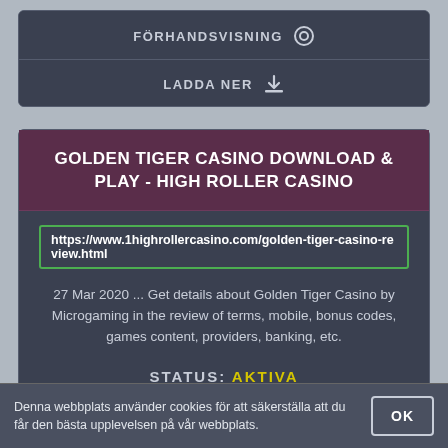FÖRHANDSVISNING
LADDA NER
GOLDEN TIGER CASINO DOWNLOAD & PLAY - HIGH ROLLER CASINO
https://www.1highrollercasino.com/golden-tiger-casino-review.html
27 Mar 2020 ... Get details about Golden Tiger Casino by Microgaming in the review of terms, mobile, bonus codes, games content, providers, banking, etc.
STATUS: AKTIVA
FÖRHANDSVISNING
Denna webbplats använder cookies för att säkerställa att du får den bästa upplevelsen på vår webbplats.